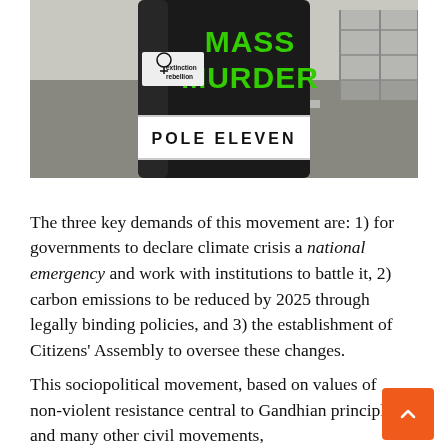[Figure (photo): Photo of a black street pole with a white label reading 'POLE ELEVEN' and green graffiti text reading 'MASS MURDER' above it. An 'extinction rebellion' sticker is visible on the pole. The background shows a road and barriers.]
The three key demands of this movement are: 1) for governments to declare climate crisis a national emergency and work with institutions to battle it, 2) carbon emissions to be reduced by 2025 through legally binding policies, and 3) the establishment of Citizens' Assembly to oversee these changes.
This sociopolitical movement, based on values of non-violent resistance central to Gandhian principles and many other civil movements,